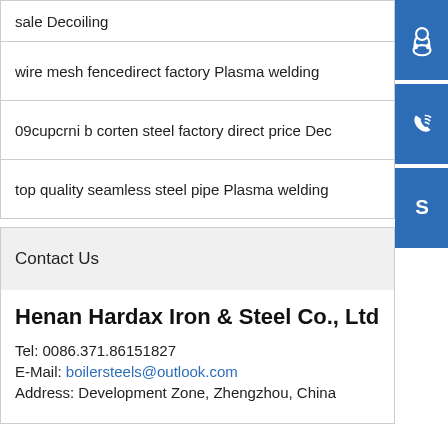sale Decoiling
wire mesh fencedirect factory Plasma welding
09cupcrni b corten steel factory direct price Dec
top quality seamless steel pipe Plasma welding
Contact Us
Henan Hardax Iron & Steel Co., Ltd
Tel: 0086.371.86151827
E-Mail: boilersteels@outlook.com
Address: Development Zone, Zhengzhou, China